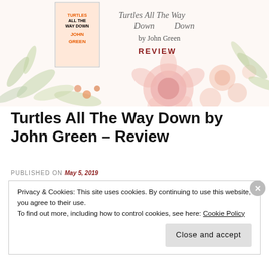[Figure (illustration): Header banner with watercolor floral design, book cover of 'Turtles All The Way Down' by John Green on the left, and script title text 'Turtles All The Way Down by John Green REVIEW' on the right]
Turtles All The Way Down by John Green – Review
PUBLISHED ON May 5, 2019
Privacy & Cookies: This site uses cookies. By continuing to use this website, you agree to their use.
To find out more, including how to control cookies, see here: Cookie Policy
Close and accept